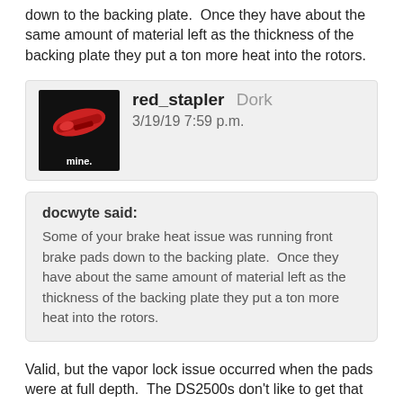down to the backing plate.  Once they have about the same amount of material left as the thickness of the backing plate they put a ton more heat into the rotors.
red_stapler  Dork
3/19/19 7:59 p.m.
docwyte said:
Some of your brake heat issue was running front brake pads down to the backing plate.  Once they have about the same amount of material left as the thickness of the backing plate they put a ton more heat into the rotors.
Valid, but the vapor lock issue occurred when the pads were at full depth.  The DS2500s don't like to get that hot, as evident by the accelerated wear rates on the fronts.